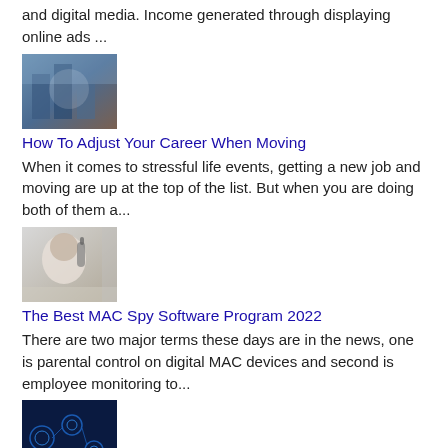and digital media. Income generated through displaying online ads ...
[Figure (photo): Abstract digital/career image with blue tones and skyline]
How To Adjust Your Career When Moving
When it comes to stressful life events, getting a new job and moving are up at the top of the list. But when you are doing both of them a...
[Figure (photo): Person talking on mobile phone, seen from behind]
The Best MAC Spy Software Program 2022
There are two major terms these days are in the news, one is parental control on digital MAC devices and second is employee monitoring to...
[Figure (photo): Dark blue digital marketing themed image with icons and text]
5 Top Digital Marketing Trendsetters To Follow
In digital marketing sector it's important to constantly have your